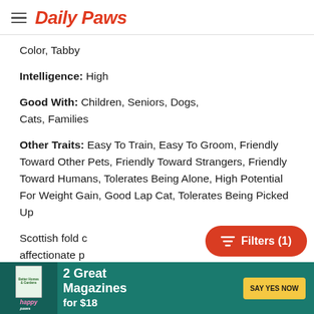Daily Paws
Color, Tabby
Intelligence: High
Good With: Children, Seniors, Dogs, Cats, Families
Other Traits: Easy To Train, Easy To Groom, Friendly Toward Other Pets, Friendly Toward Strangers, Friendly Toward Humans, Tolerates Being Alone, High Potential For Weight Gain, Good Lap Cat, Tolerates Being Picked Up
Scottish fold cats are affectionate pets that enjoy human interaction without being too demanding for your constant...
[Figure (other): Filters (1) button overlay - red rounded pill button with filter icon]
[Figure (other): Advertisement banner: Better Homes & Gardens / happy paws - 2 Great Magazines for $18 - SAY YES NOW button]